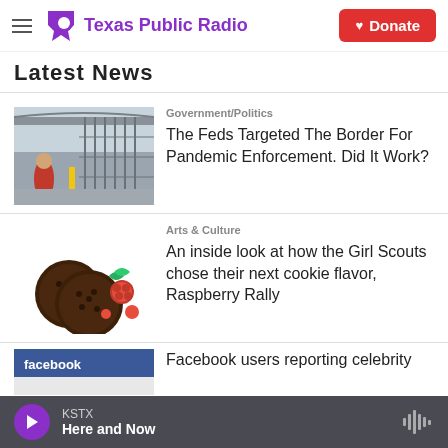Texas Public Radio | Donate
Latest News
[Figure (photo): Border crossing with fence and person in red jacket]
Government/Politics
The Feds Targeted The Border For Pandemic Enforcement. Did It Work?
[Figure (photo): Thin mint style chocolate cookies with raspberry]
Arts & Culture
An inside look at how the Girl Scouts chose their next cookie flavor, Raspberry Rally
[Figure (screenshot): Facebook logo/header screenshot]
Facebook users reporting celebrity
KSTX Here and Now